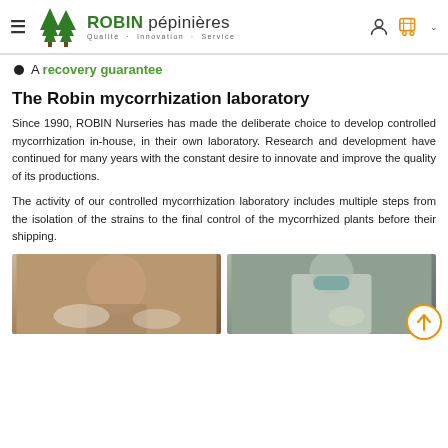ROBIN pépinières — Qualité · Innovation · Service
A recovery guarantee
The Robin mycorrhization laboratory
Since 1990, ROBIN Nurseries has made the deliberate choice to develop controlled mycorrhization in-house, in their own laboratory. Research and development have continued for many years with the constant desire to innovate and improve the quality of its productions.
The activity of our controlled mycorrhization laboratory includes multiple steps from the isolation of the strains to the final control of the mycorrhized plants before their shipping.
[Figure (photo): Man in laboratory holding petri dishes]
[Figure (photo): Person in white lab coat and mask holding a glass container in a lab setting]